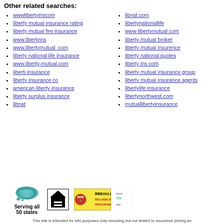Other related searches:
wwwlibertyinscom
liberty mutual insurance rating
liberty mutual fire insurance
www.libertyins
www.libertymutual .com
liberty national life insurance
www.liberty-mutual.com
liberti insurance
liberty insurance co
american liberty insurance
liberty surplus insurance
libnat
libnat.com
libertynationallife
www libertymutual com
liberty mutual broker
liberty mutual insurence
liberty national quotes
liberty ins com
liberty mutual insurance group
liberty mutual insurance agents
libertylife insurance
libertynorthwest.com
mutuallibertyinsurance
[Figure (infographic): Serving all 50 states - map of USA with teal color]
[Figure (logo): Equal Housing Opportunity logo]
[Figure (logo): BBBOnLine Reliability Program logo]
[Figure (logo): Review site logo (partially visible)]
This site is intended for info purposes only including but not limited to insurance pricing an